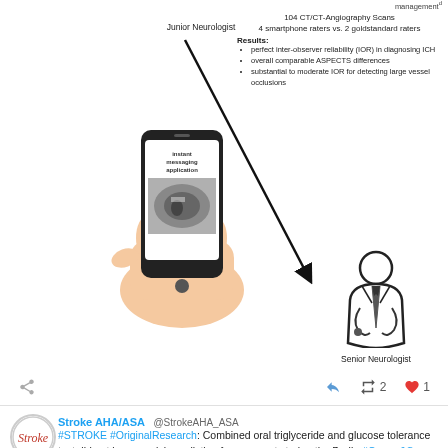[Figure (infographic): Infographic showing a hand holding a smartphone with 'instant messaging application' displayed, with an arrow pointing from a Junior Neurologist (top, partial) to a Senior Neurologist (bottom right icon). Right side shows study results text.]
Junior Neurologist
104 CT/CT-Angiography Scans
4 smartphone raters vs. 2 goldstandard raters
Results:
• perfect inter-observer reliability (IOR) in diagnosing ICH
• overall comparable ASPECTS differences
• substantial to moderate IOR for detecting large vessel occlusions
Senior Neurologist
[Figure (screenshot): Social media action bar with share, reply, retweet (2), and like (1) icons]
Stroke AHA/ASA @StrokeAHA_ASA
#STROKE #OriginalResearch: Combined oral triglyceride and glucose tolerance test did not improve risk prediction for recurrent stroke; the Berlin #Cream&Sugar study https://t.co/jO766PFThh @ikeb_wuerzburg @alexandernave https://t.co/LKPjISVjrE
[Figure (continuous-plot): Kaplan-Meier Curves for Quartiles of 5h-OTTT Triglycerides, partial view showing y-axis starting at 1.00 with colored lines at bottom]